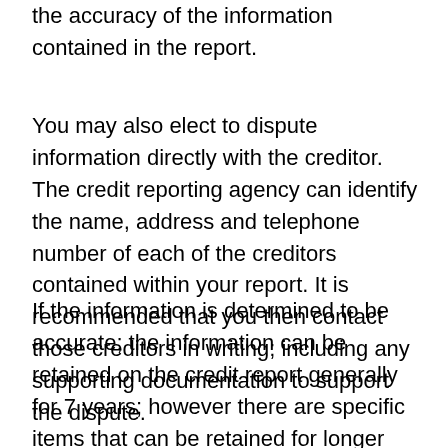report that indicates that the consumer disputes the accuracy of the information contained in the report.
You may also elect to dispute information directly with the creditor. The credit reporting agency can identify the name, address and telephone number of each of the creditors contained within your report. It is recommended that you then contact those creditors in writing; including any supporting documentation to support the dispute.
If the information is determined to be accurate; the information can be retained on the credit report generally for 7 years; however there are specific items that can be retained for longer periods of time.